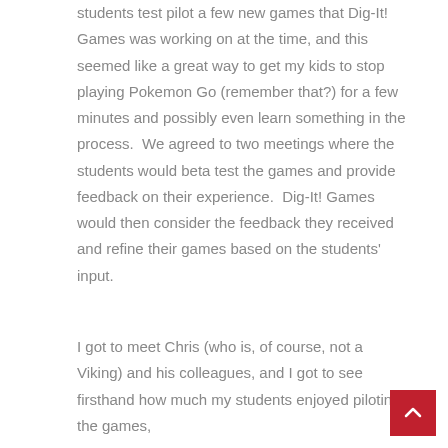students test pilot a few new games that Dig-It! Games was working on at the time, and this seemed like a great way to get my kids to stop playing Pokemon Go (remember that?) for a few minutes and possibly even learn something in the process.  We agreed to two meetings where the students would beta test the games and provide feedback on their experience.  Dig-It! Games would then consider the feedback they received and refine their games based on the students' input.
I got to meet Chris (who is, of course, not a Viking) and his colleagues, and I got to see firsthand how much my students enjoyed piloting the games,